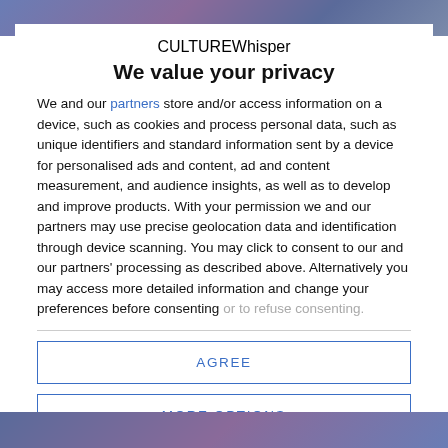[Figure (photo): Top portion of a photo visible behind the modal overlay, showing blurred figures with purple/blue tones.]
CULTUREWhisper
We value your privacy
We and our partners store and/or access information on a device, such as cookies and process personal data, such as unique identifiers and standard information sent by a device for personalised ads and content, ad and content measurement, and audience insights, as well as to develop and improve products. With your permission we and our partners may use precise geolocation data and identification through device scanning. You may click to consent to our and our partners' processing as described above. Alternatively you may access more detailed information and change your preferences before consenting or to refuse consenting.
AGREE
MORE OPTIONS
[Figure (photo): Bottom portion of a photo visible behind the modal overlay, showing blurred figures with purple/blue tones.]